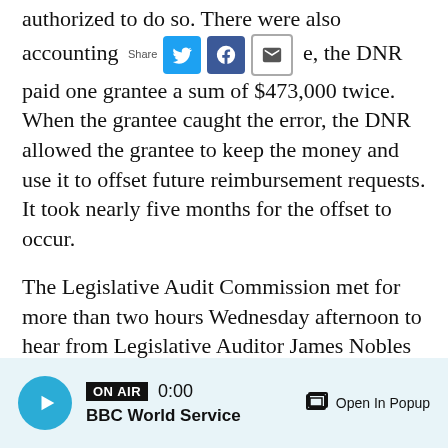authorized to do so. There were also accounting e, the DNR paid one grantee a sum of $473,000 twice. When the grantee caught the error, the DNR allowed the grantee to keep the money and use it to offset future reimbursement requests. It took nearly five months for the offset to occur.
The Legislative Audit Commission met for more than two hours Wednesday afternoon to hear from Legislative Auditor James Nobles and his staff.
Sen. Ann Rest, DFL-New Hope, said she was generally pleased with the report's findings on how agencies were carrying out Legacy programs. But she said the DNR's duplicate payment was
[Figure (other): Audio player bar showing ON AIR badge, time 0:00, BBC World Service label, play button, and Open In Popup link]